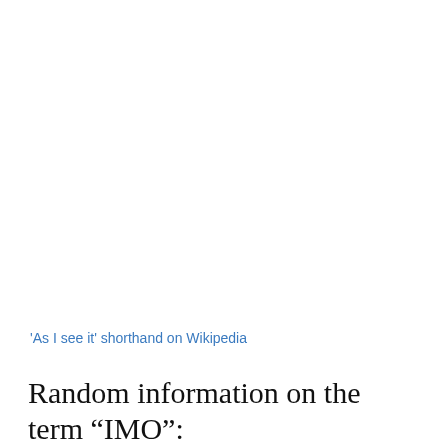'As I see it' shorthand on Wikipedia
Random information on the term “IMO”: